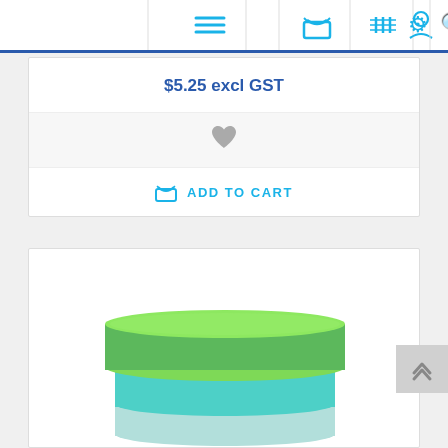[Figure (screenshot): Website navigation bar with icons: hamburger menu, shopping basket, filter list, user profile, settings gear, and search magnifier in cyan/blue color]
$5.25 excl GST
[Figure (other): Gray heart/wishlist icon]
ADD TO CART
[Figure (photo): Stack of green and teal/cyan colored sticky note pad blocks]